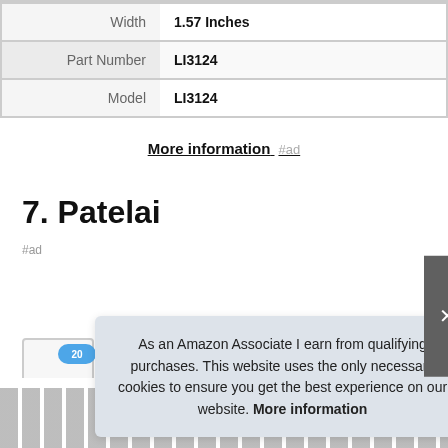| Property | Value |
| --- | --- |
| Width | 1.57 Inches |
| Part Number | LI3124 |
| Model | LI3124 |
More information #ad
7. Patelai
#ad
As an Amazon Associate I earn from qualifying purchases. This website uses the only necessary cookies to ensure you get the best experience on our website. More information